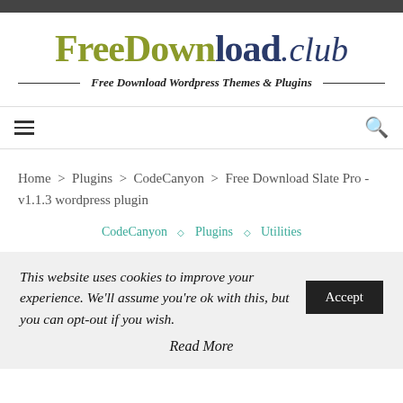FreeDownload.club — Free Download Wordpress Themes & Plugins
Home > Plugins > CodeCanyon > Free Download Slate Pro - v1.1.3 wordpress plugin
CodeCanyon ◇ Plugins ◇ Utilities
This website uses cookies to improve your experience. We'll assume you're ok with this, but you can opt-out if you wish. Accept
Read More